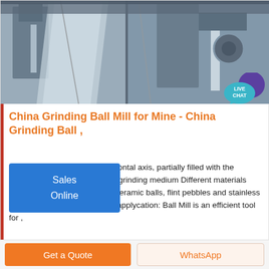[Figure (photo): Industrial grinding ball mill machinery — metallic components and mechanical parts photographed from close up, showing grey steel housing and mechanical elements.]
China Grinding Ball Mill for Mine - China Grinding Ball ,
Ball mills rotate around a horizontal axis, partially filled with the material to be ground plus the grinding medium Different materials are used for media, including ceramic balls, flint pebbles and stainless steel balls 2 Grinding Ball Mill applycation: Ball Mill is an efficient tool for ,
Sales Online
Get a Quote
WhatsApp